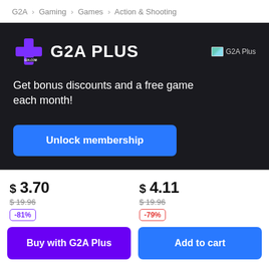G2A > Gaming > Games > Action & Shooting
[Figure (logo): G2A Plus logo with purple cross icon and white bold text 'G2A PLUS', with a small G2A Plus badge image on the right]
Get bonus discounts and a free game each month!
Unlock membership
$ 3.70
$ 19.96
-81%
$ 4.11
$ 19.96
-79%
Buy with G2A Plus
Add to cart